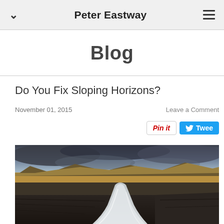Peter Eastway
Blog
Do You Fix Sloping Horizons?
November 01, 2015
Leave a Comment
[Figure (photo): Landscape photograph of an Icelandic scene with a rocky river channel flowing through basalt rocks in the foreground, golden-orange mountains in the middle distance, and a dramatic cloudy sky above. The water appears smooth with a long exposure effect.]